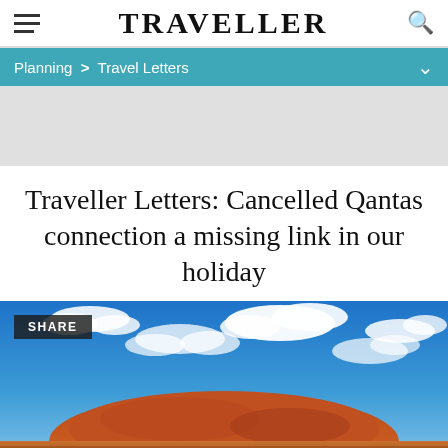TRAVELLER
Planning > Travel Letters
Traveller Letters: Cancelled Qantas connection a missing link in our holiday
[Figure (photo): Uluru (Ayers Rock) under a dramatic blue sky with white clouds, Australian outback landscape. A 'SHARE' badge is overlaid on the top-left corner of the image.]